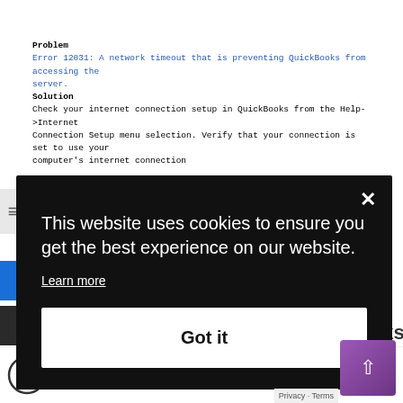[Figure (screenshot): Screenshot of a QuickBooks error dialog showing Problem: Error 12031 network timeout, Solution text about internet connection setup, and Start/Cancel buttons. Below it is a cookie consent modal overlay on a dark background with text 'This website uses cookies to ensure you get the best experience on our website.', a 'Learn more' link, and a 'Got it' button. At the bottom is a phone number bar showing +1516-461-3216 and partial text 'network time out which stops QuickBooks' and 'o face the'.]